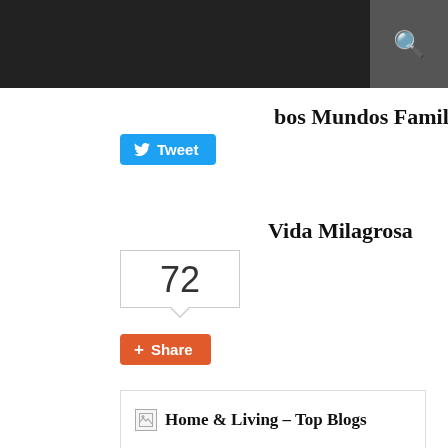bos Mundos Family Food Blog
[Figure (screenshot): Blue Twitter Tweet button]
Vida Milagrosa
72
[Figure (screenshot): Red Google+ Share button]
[Figure (illustration): Home & Living - Top Blogs Philippines badge with broken image icon, and Mommy Bloggers Philippines logo — a heart shape with pink figures and green ribbon banner]